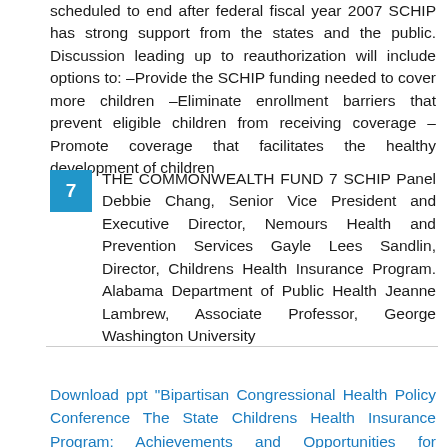scheduled to end after federal fiscal year 2007 SCHIP has strong support from the states and the public. Discussion leading up to reauthorization will include options to: –Provide the SCHIP funding needed to cover more children –Eliminate enrollment barriers that prevent eligible children from receiving coverage –Promote coverage that facilitates the healthy development of children
7 THE COMMONWEALTH FUND 7 SCHIP Panel Debbie Chang, Senior Vice President and Executive Director, Nemours Health and Prevention Services Gayle Lees Sandlin, Director, Childrens Health Insurance Program. Alabama Department of Public Health Jeanne Lambrew, Associate Professor, George Washington University
Download ppt "Bipartisan Congressional Health Policy Conference The State Childrens Health Insurance Program: Achievements and Opportunities for Improvement at Renewal."